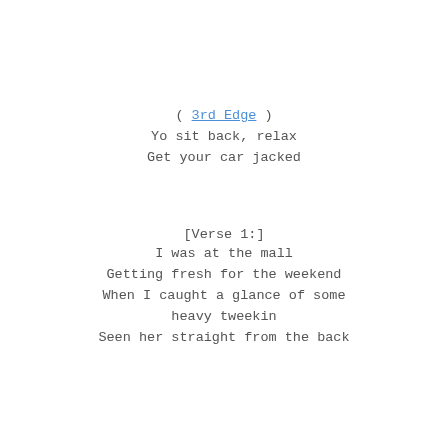( 3rd Edge )
Yo sit back, relax
Get your car jacked
[Verse 1:]
I was at the mall
Getting fresh for the weekend
When I caught a glance of some
heavy tweekin
Seen her straight from the back